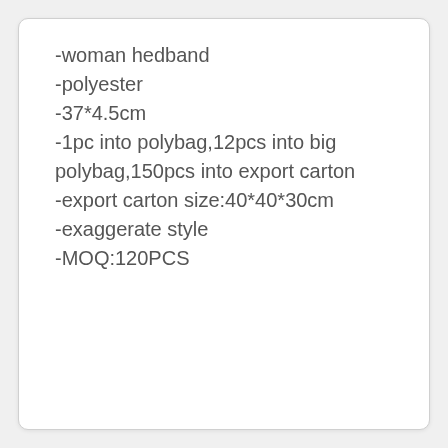-woman hedband
-polyester
-37*4.5cm
-1pc into polybag,12pcs into big polybag,150pcs into export carton
-export carton size:40*40*30cm
-exaggerate style
-MOQ:120PCS